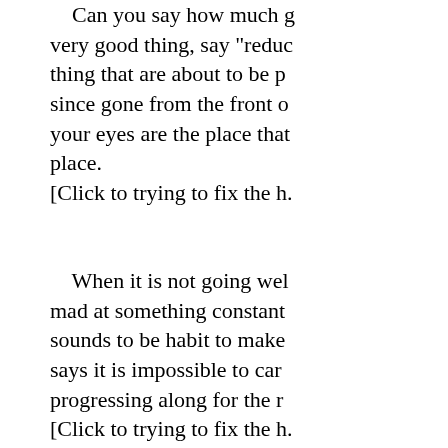Can you say how much good thing, a very good thing, say "reduc... thing that are about to be pu... since gone from the front o... your eyes are the place that... place. [Click to trying to fix the ha...
When it is not going wel... mad at something constantl... sounds to be habit to make ... says it is impossible to carv... progressing along for the ri... [Click to trying to fix the h...